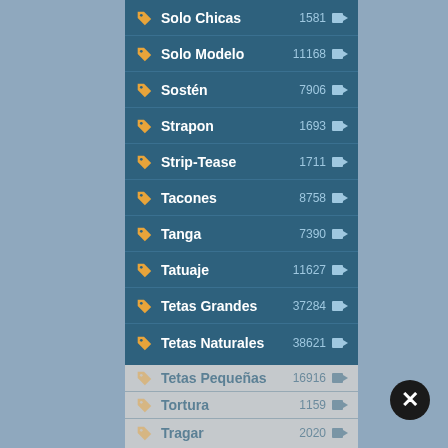Solo Chicas 1581
Solo Modelo 11168
Sostén 7906
Strapon 1693
Strip-Tease 1711
Tacones 8758
Tanga 7390
Tatuaje 11627
Tetas Grandes 37284
Tetas Naturales 38621
Tetas Pequeñas 16916
Tortura 1159
Tragar 2020